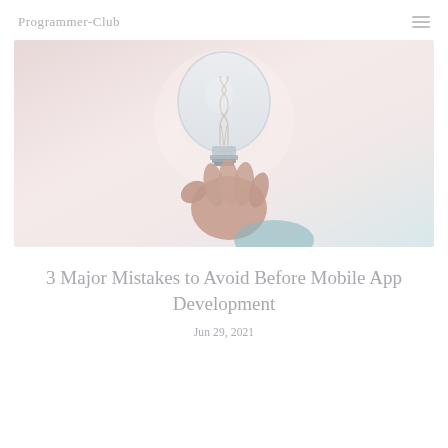Programmer-Club
[Figure (photo): A hand holding a glass light bulb against a soft gradient pink and white background]
3 Major Mistakes to Avoid Before Mobile App Development
Jun 29, 2021